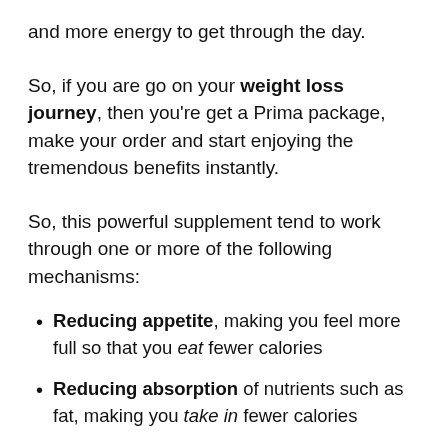and more energy to get through the day.
So, if you are go on your weight loss journey, then you're get a Prima package, make your order and start enjoying the tremendous benefits instantly.
So, this powerful supplement tend to work through one or more of the following mechanisms:
Reducing appetite, making you feel more full so that you eat fewer calories
Reducing absorption of nutrients such as fat, making you take in fewer calories